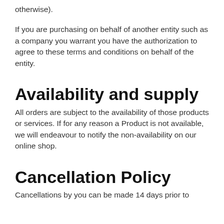otherwise).
If you are purchasing on behalf of another entity such as a company you warrant you have the authorization to agree to these terms and conditions on behalf of the entity.
Availability and supply
All orders are subject to the availability of those products or services. If for any reason a Product is not available, we will endeavour to notify the non-availability on our online shop.
Cancellation Policy
Cancellations by you can be made 14 days prior to